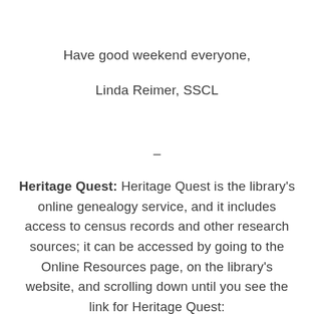Have good weekend everyone,
Linda Reimer, SSCL
–
Heritage Quest: Heritage Quest is the library's online genealogy service, and it includes access to census records and other research sources; it can be accessed by going to the Online Resources page, on the library's website, and scrolling down until you see the link for Heritage Quest: